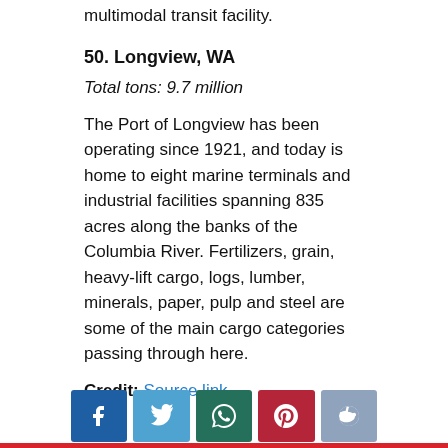multimodal transit facility.
50. Longview, WA
Total tons: 9.7 million
The Port of Longview has been operating since 1921, and today is home to eight marine terminals and industrial facilities spanning 835 acres along the banks of the Columbia River. Fertilizers, grain, heavy-lift cargo, logs, lumber, minerals, paper, pulp and steel are some of the main cargo categories passing through here.
Credit: Source link